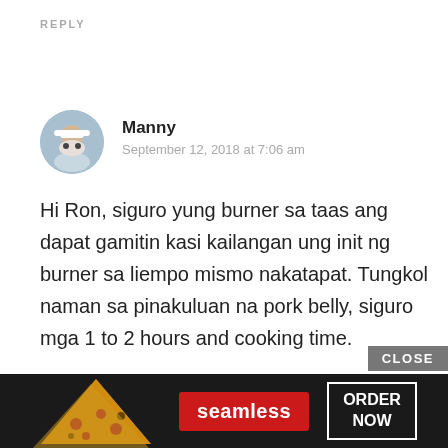REPLY
Manny
September 12, 2018 at 7:06 am
Hi Ron, siguro yung burner sa taas ang dapat gamitin kasi kailangan ung init ng burner sa liempo mismo nakatapat. Tungkol naman sa pinakuluan na pork belly, siguro mga 1 to 2 hours and cooking time.
REPLY
[Figure (screenshot): Advertisement banner for Seamless food delivery showing pizza images on dark background, with 'seamless' red logo and 'ORDER NOW' button. Has a 'CLOSE' button in the upper right.]